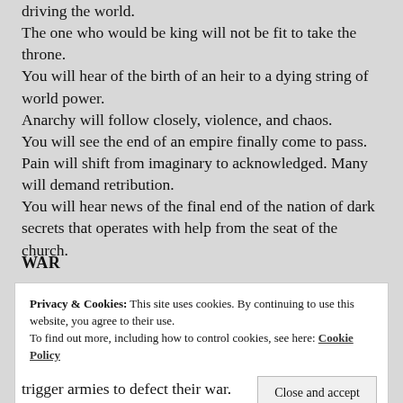driving the world.
The one who would be king will not be fit to take the throne.
You will hear of the birth of an heir to a dying string of world power.
Anarchy will follow closely, violence, and chaos.
You will see the end of an empire finally come to pass. Pain will shift from imaginary to acknowledged. Many will demand retribution.
You will hear news of the final end of the nation of dark secrets that operates with help from the seat of the church.
WAR
Privacy & Cookies: This site uses cookies. By continuing to use this website, you agree to their use.
To find out more, including how to control cookies, see here: Cookie Policy
trigger armies to defect their war.